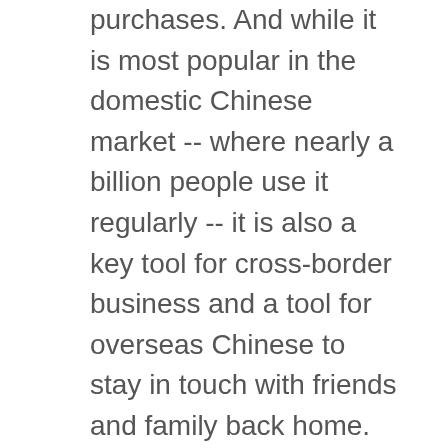purchases. And while it is most popular in the domestic Chinese market -- where nearly a billion people use it regularly -- it is also a key tool for cross-border business and a tool for overseas Chinese to stay in touch with friends and family back home.
Now, the U.S. administration is seeking to bar both apps, citing concerns around data privacy and possible overseas surveillance. While the government's orders have been temporarily halted in the courts, uncertainty looms over the future of the two Chinese unicorns. Because of this, some people in the U.S. have begun looking to a solution usually associated with countries that censor the Internet. They are turning to VPNs to circumvent the potential U.S. regulations and use TikTok and